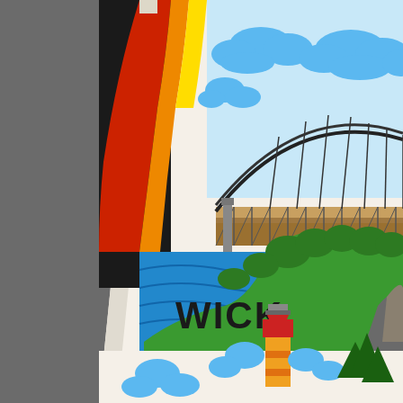[Figure (photo): Close-up photograph of a souvenir shot glass or cup featuring colorful illustrated landmarks. The mug is white/cream colored and decorated with printed illustrations including a large arched bridge over blue water, green forested shoreline, blue clouds in the sky, and a red and orange lighthouse at the bottom center. Partial text visible reads 'WICK' (likely part of 'BRUNSWICK' or similar place name). The upper left shows the edge of a colorful graphic (red, yellow, orange). The background is dark gray textured surface.]